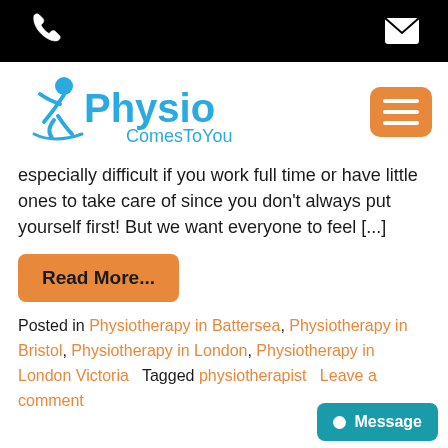Phone and mail icons on black bar
[Figure (logo): PhysioComesToYou logo with running figure icon in blue, and orange hamburger menu button]
especially difficult if you work full time or have little ones to take care of since you don't always put yourself first! But we want everyone to feel [...]
Read More...
Posted in Physiotherapy in Battersea, Physiotherapy in Bristol, Physiotherapy in London, Physiotherapy in London Victoria  Tagged physiotherapist  Leave a comment
Message